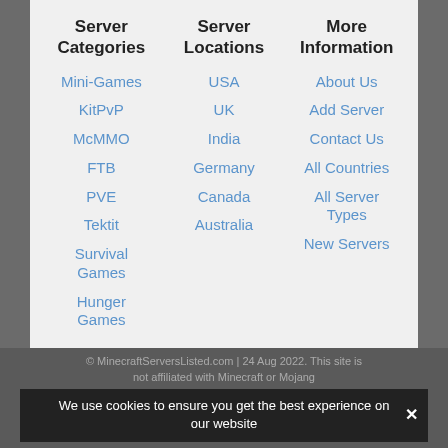Server Categories
Server Locations
More Information
Mini-Games
KitPvP
McMMO
FTB
PVE
Tektit
Survival Games
Hunger Games
USA
UK
India
Germany
Canada
Australia
About Us
Add Server
Contact Us
All Countries
All Server Types
New Servers
© MinecraftServersListed.com | 24 Aug 2022. This site is not affiliated with Minecraft or Mojang
We use cookies to ensure you get the best experience on our website